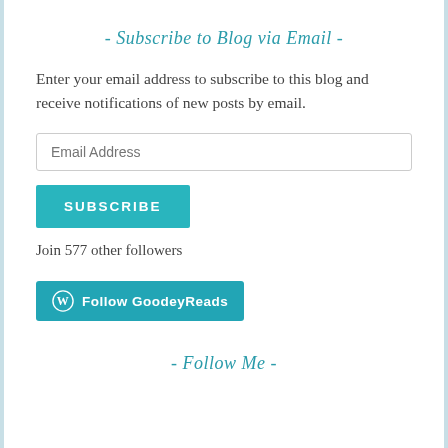- Subscribe to Blog via Email -
Enter your email address to subscribe to this blog and receive notifications of new posts by email.
Email Address
SUBSCRIBE
Join 577 other followers
[Figure (other): Follow GoodeyReads WordPress button with WordPress logo icon]
- Follow Me -